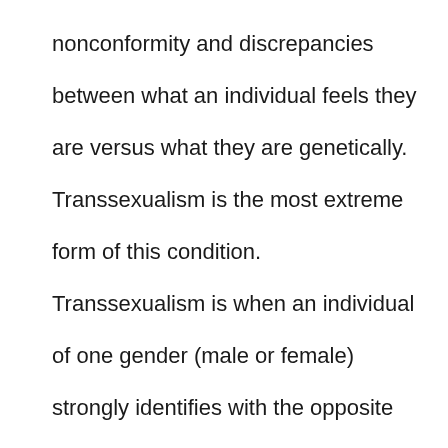nonconformity and discrepancies between what an individual feels they are versus what they are genetically. Transsexualism is the most extreme form of this condition. Transsexualism is when an individual of one gender (male or female) strongly identifies with the opposite gender and takes steps (hormonal and/or surgical) to modify their body to conform to their chosen gender. They say